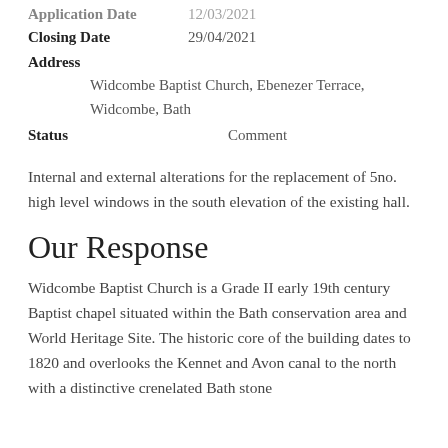| Field | Value |
| --- | --- |
| Application Date | 12/03/2021 |
| Closing Date | 29/04/2021 |
| Address | Widcombe Baptist Church, Ebenezer Terrace, Widcombe, Bath |
| Status | Comment |
Internal and external alterations for the replacement of 5no. high level windows in the south elevation of the existing hall.
Our Response
Widcombe Baptist Church is a Grade II early 19th century Baptist chapel situated within the Bath conservation area and World Heritage Site. The historic core of the building dates to 1820 and overlooks the Kennet and Avon canal to the north with a distinctive crenelated Bath stone...